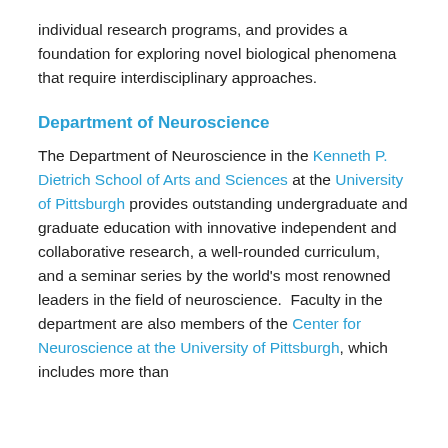individual research programs, and provides a foundation for exploring novel biological phenomena that require interdisciplinary approaches.
Department of Neuroscience
The Department of Neuroscience in the Kenneth P. Dietrich School of Arts and Sciences at the University of Pittsburgh provides outstanding undergraduate and graduate education with innovative independent and collaborative research, a well-rounded curriculum, and a seminar series by the world's most renowned leaders in the field of neuroscience.  Faculty in the department are also members of the Center for Neuroscience at the University of Pittsburgh, which includes more than